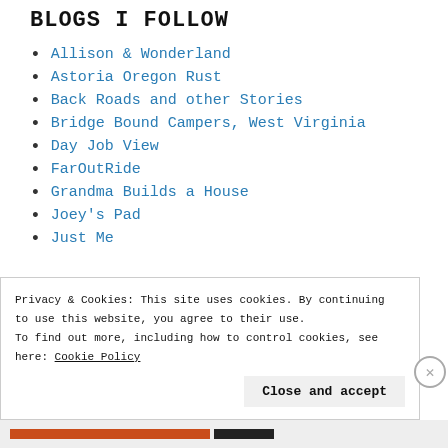BLOGS I FOLLOW
Allison & Wonderland
Astoria Oregon Rust
Back Roads and other Stories
Bridge Bound Campers, West Virginia
Day Job View
FarOutRide
Grandma Builds a House
Joey's Pad
Just Me
Privacy & Cookies: This site uses cookies. By continuing to use this website, you agree to their use. To find out more, including how to control cookies, see here: Cookie Policy
Close and accept